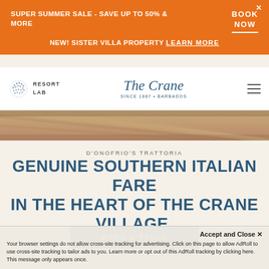SUPER SUMMER SALE - SAVE UP TO 50% & MORE | BOOK NOW | NEW! SISTER VILLA PROPERTY LEARN MORE
[Figure (logo): Resort Lab logo with decorative dot pattern and The Crane Since 1887 Barbados wordmark]
[Figure (photo): Close-up photo of wicker/rattan texture in warm brown tones]
D'ONOFRIO'S TRATTORIA
GENUINE SOUTHERN ITALIAN FARE IN THE HEART OF THE CRANE VILLAGE.
BOOK A TABLE
Accept and Close ✕
Your browser settings do not allow cross-site tracking for advertising. Click on this page to allow AdRoll to use cross-site tracking to tailor ads to you. Learn more or opt out of this AdRoll tracking by clicking here. This message only appears once.